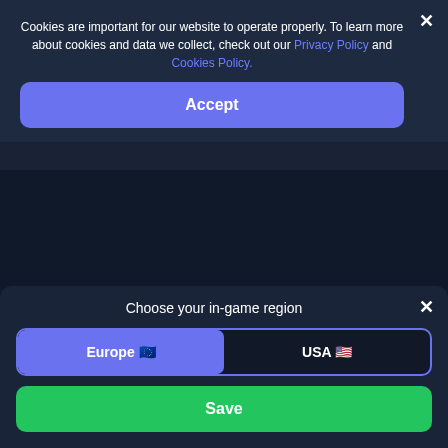Cookies are important for our website to operate properly. To learn more about cookies and data we collect, check out our Privacy Policy and Cookies Policy.
Accept
FIFA
WoW: Burning Crusade
Choose your in-game region
Europe 🇪🇺
USA 🇺🇸
Save